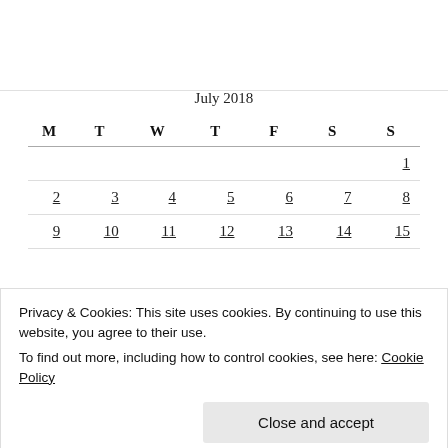July 2018
| M | T | W | T | F | S | S |
| --- | --- | --- | --- | --- | --- | --- |
|  |  |  |  |  |  | 1 |
| 2 | 3 | 4 | 5 | 6 | 7 | 8 |
| 9 | 10 | 11 | 12 | 13 | 14 | 15 |
Privacy & Cookies: This site uses cookies. By continuing to use this website, you agree to their use.
To find out more, including how to control cookies, see here: Cookie Policy
« Jun    Aug »